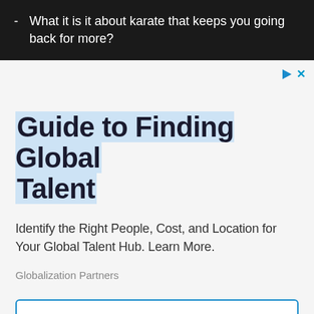- What it is it about karate that keeps you going back for more?
Guide to Finding Global Talent
Identify the Right People, Cost, and Location for Your Global Talent Hub. Learn More.
Globalization Partners
Open